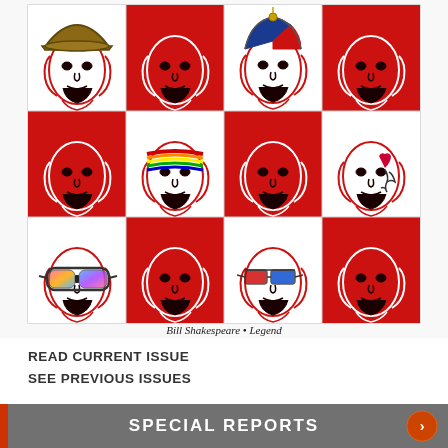[Figure (illustration): A 4x3 checkerboard grid of red and white squares, each containing a stylized red and black illustration of William Shakespeare's face in the Chandos portrait style, each with different accessories: cowboy hat, plain, yarmulke/beanie cap, plain; plain, rainbow headband, plain, face tattoo; ski goggles, plain, 3D glasses, plain.]
Bill Shakespeare • Legend
READ CURRENT ISSUE
SEE PREVIOUS ISSUES
SPECIAL REPORTS